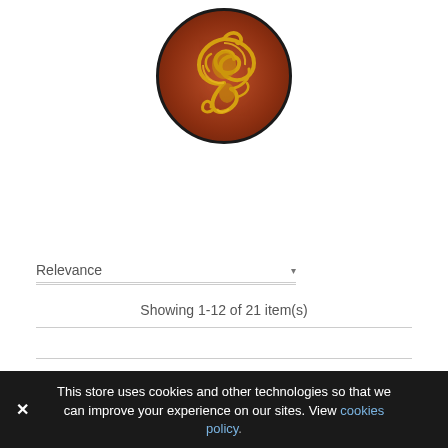[Figure (logo): Circular logo with dark reddish-brown background featuring a gold ornate Viking/Celtic style dragon or serpent knotwork design]
Relevance ▾
Showing 1-12 of 21 item(s)
Showing 1-12 of 21 item(s)
This store uses cookies and other technologies so that we can improve your experience on our sites. View cookies policy.